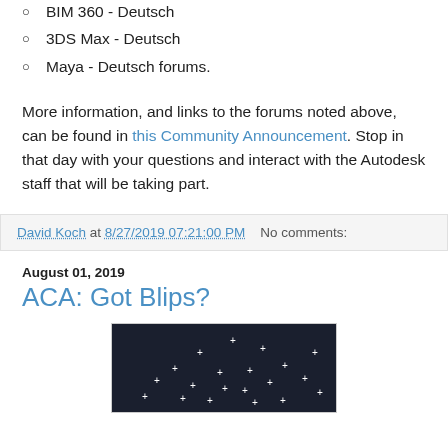BIM 360 - Deutsch
3DS Max - Deutsch
Maya - Deutsch forums.
More information, and links to the forums noted above, can be found in this Community Announcement. Stop in that day with your questions and interact with the Autodesk staff that will be taking part.
David Koch at 8/27/2019 07:21:00 PM   No comments:
August 01, 2019
ACA: Got Blips?
[Figure (screenshot): Dark screenshot showing small white plus/cross markers scattered on a dark navy background, resembling blips or points in a CAD/drafting application.]